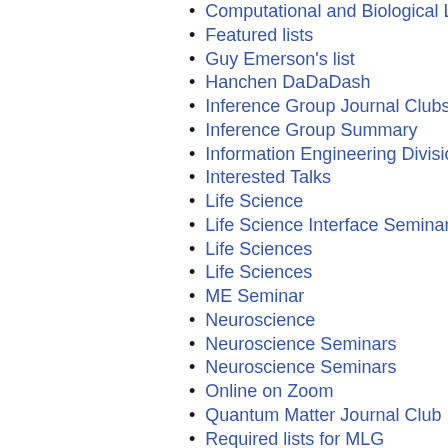Computational and Biological Lear...
Featured lists
Guy Emerson's list
Hanchen DaDaDash
Inference Group Journal Clubs
Inference Group Summary
Information Engineering Division s...
Interested Talks
Life Science
Life Science Interface Seminars
Life Sciences
Life Sciences
ME Seminar
Neuroscience
Neuroscience Seminars
Neuroscience Seminars
Online on Zoom
Quantum Matter Journal Club
Required lists for MLG
Stem Cells & Regenerative Medici...
TQS Journal Clubs
Trust & Technology Initiative - inter...
bld31
custom
dh539